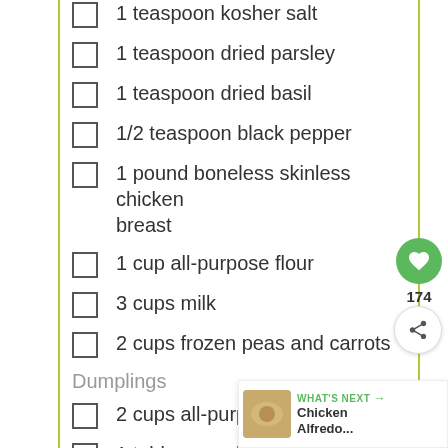1 teaspoon kosher salt
1 teaspoon dried parsley
1 teaspoon dried basil
1/2 teaspoon black pepper
1 pound boneless skinless chicken breast
1 cup all-purpose flour
3 cups milk
2 cups frozen peas and carrots
Dumplings
2 cups all-purpose flour
1 tablespoon baking powder
1/2 teaspoon kosher salt